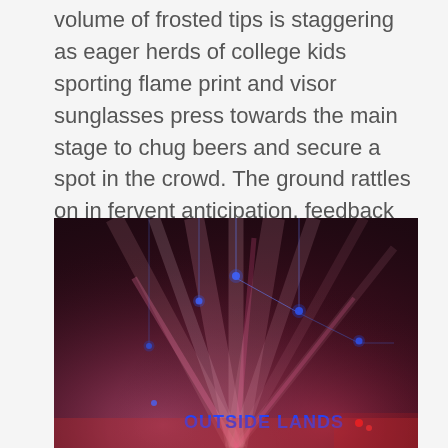volume of frosted tips is staggering as eager herds of college kids sporting flame print and visor sunglasses press towards the main stage to chug beers and secure a spot in the crowd. The ground rattles on in fervent anticipation, feedback building, till it bursts and sonic waves erupt through the Golden Gate dreamscape.
[Figure (photo): Concert stage photo with dark reddish-purple lighting, blue LED lights suspended on cables, light beams radiating across the stage, and 'OUTSIDE LANDS' text in blue neon lettering visible at the bottom center of the image.]